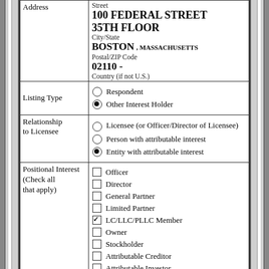| Field | Value |
| --- | --- |
| Address | Street
100 FEDERAL STREET
35TH FLOOR
City/State
BOSTON , MASSACHUSETTS
Postal/ZIP Code
02110 -
Country (if not U.S.) |
| Listing Type | ○ Respondent
● Other Interest Holder |
| Relationship to Licensee | ○ Licensee (or Officer/Director of Licensee)
○ Person with attributable interest
● Entity with attributable interest |
| Positional Interest (Check all that apply) | ☐ Officer
☐ Director
☐ General Partner
☐ Limited Partner
☑ LC/LLC/PLLC Member
☐ Owner
☐ Stockholder
☐ Attributable Creditor
☐ Attributable Investor |